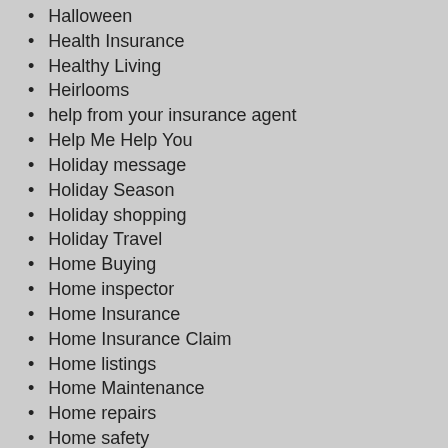Halloween
Health Insurance
Healthy Living
Heirlooms
help from your insurance agent
Help Me Help You
Holiday message
Holiday Season
Holiday shopping
Holiday Travel
Home Buying
Home inspector
Home Insurance
Home Insurance Claim
Home listings
Home Maintenance
Home repairs
Home safety
Home showings
Homeowner Claim
house party
Hurricane
Hurricane Safety